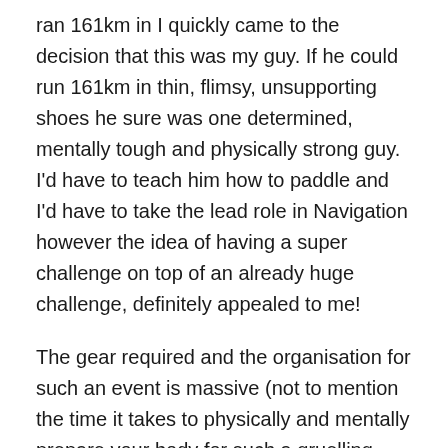ran 161km in I quickly came to the decision that this was my guy. If he could run 161km in thin, flimsy, unsupporting shoes he sure was one determined, mentally tough and physically strong guy. I'd have to teach him how to paddle and I'd have to take the lead role in Navigation however the idea of having a super challenge on top of an already huge challenge, definitely appealed to me!
The gear required and the organisation for such an event is massive (not to mention the time it takes to physically and mentally prepare your body for such a gruelling adventure, which we didn't have) so with time not on our side we sure needed a bit of help from our friends. Felt Bicycles gave Lawrence a brand new Edic9 Dual Suspension Mountain Bike to ride (having gifted me a new bike a month earlier.) ARea51 helped us source all the